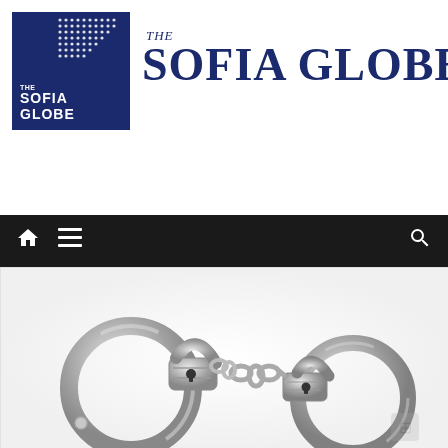[Figure (logo): The Sofia Globe newspaper logo: blue square with white dot grid pattern and 'THE SOFIA GLOBE' text in dark navy serif font]
[Figure (photo): Close-up photograph of silver/chrome handcuffs on a white background]